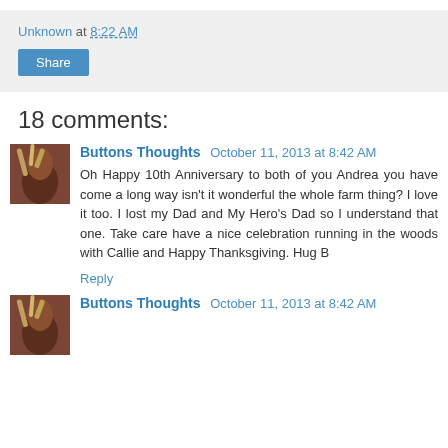Unknown at 8:22 AM
Share
18 comments:
[Figure (photo): Avatar photo of Buttons Thoughts commenter — horse/farm themed image]
Buttons Thoughts October 11, 2013 at 8:42 AM
Oh Happy 10th Anniversary to both of you Andrea you have come a long way isn't it wonderful the whole farm thing? I love it too. I lost my Dad and My Hero's Dad so I understand that one. Take care have a nice celebration running in the woods with Callie and Happy Thanksgiving. Hug B
Reply
[Figure (photo): Avatar photo of Buttons Thoughts commenter — horse/farm themed image (second comment)]
Buttons Thoughts October 11, 2013 at 8:42 AM